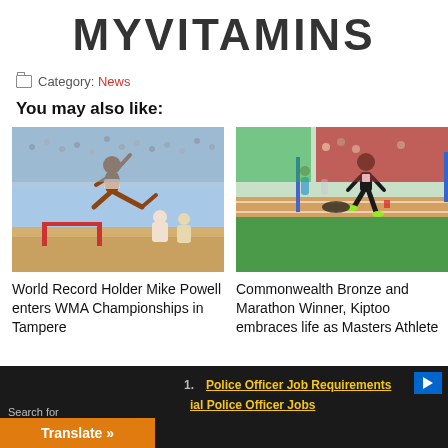MYVITAMINS
Category: News
You may also like:
[Figure (photo): Athlete performing long jump in a stadium, captured mid-air with legs extended forward]
World Record Holder Mike Powell enters WMA Championships in Tampere
[Figure (photo): Runner on a track in a stadium, wearing dark outfit with green shoes, other athletes and green grass in background]
Commonwealth Bronze and Marathon Winner, Kiptoo embraces life as Masters Athlete
Search for
Translate »
1. Police Officer Job Requirements
ial Police Officer Jobs